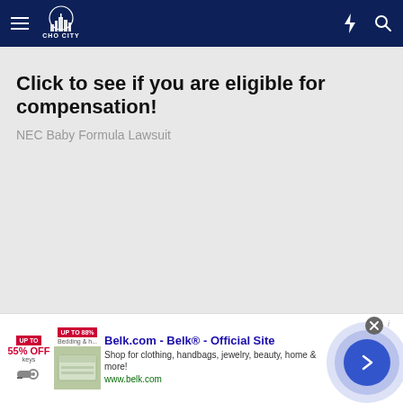Cho City — navigation bar with hamburger menu, logo, lightning bolt icon, and search icon
Click to see if you are eligible for compensation!
NEC Baby Formula Lawsuit
[Figure (screenshot): Advertisement banner for Belk.com — Belk® — Official Site. Shows thumbnail images of bedding, text: Shop for clothing, handbags, jewelry, beauty, home & more! www.belk.com. Right side has circular blue CTA button with arrow.]